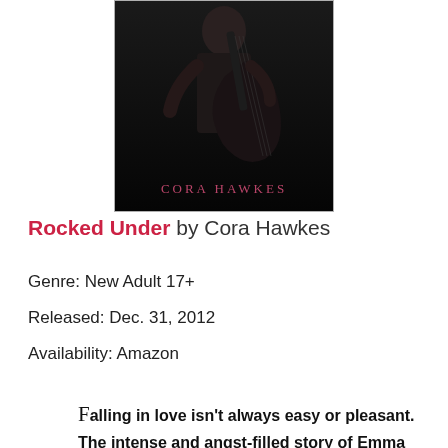[Figure (photo): Book cover for 'Rocked Under' by Cora Hawkes. Dark background showing a person holding a guitar. Author name 'CORA HAWKES' in pink/rose lettering at the bottom of the cover.]
Rocked Under by Cora Hawkes
Genre: New Adult 17+
Released: Dec. 31, 2012
Availability: Amazon
Falling in love isn't always easy or pleasant. The intense and angst-filled story of Emma and Scott is a